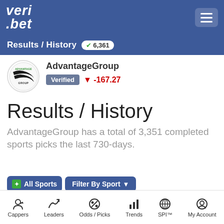veri.bet
Results / History 6,361
[Figure (logo): AdvantageGroup circular logo with stylized text and swoosh graphic]
AdvantageGroup Verified ▼ -167.27
Results / History
AdvantageGroup has a total of 3,351 completed sports picks the last 730-days.
All Sports Filter By Sport
Cappers | Leaders | Odds / Picks | Trends | SPI™ | My Account